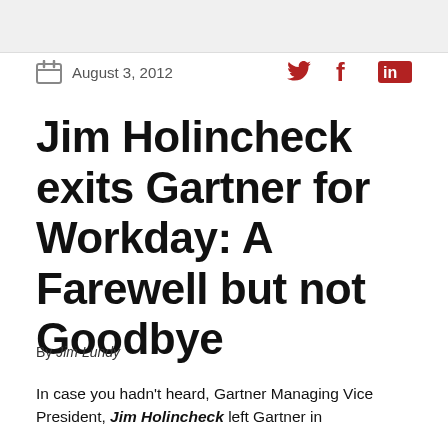August 3, 2012
Jim Holincheck exits Gartner for Workday: A Farewell but not Goodbye
By Jim Lundy
In case you hadn't heard, Gartner Managing Vice President, Jim Holincheck left Gartner in